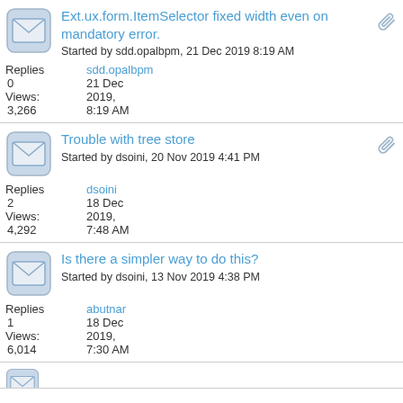Ext.ux.form.ItemSelector fixed width even on mandatory error. Started by sdd.opalbpm, 21 Dec 2019 8:19 AM | Replies: 0 | Views: 3,266 | Last: sdd.opalbpm 21 Dec 2019, 8:19 AM
Trouble with tree store. Started by dsoini, 20 Nov 2019 4:41 PM | Replies: 2 | Views: 4,292 | Last: dsoini 18 Dec 2019, 7:48 AM
Is there a simpler way to do this? Started by dsoini, 13 Nov 2019 4:38 PM | Replies: 1 | Views: 6,014 | Last: abutnar 18 Dec 2019, 7:30 AM